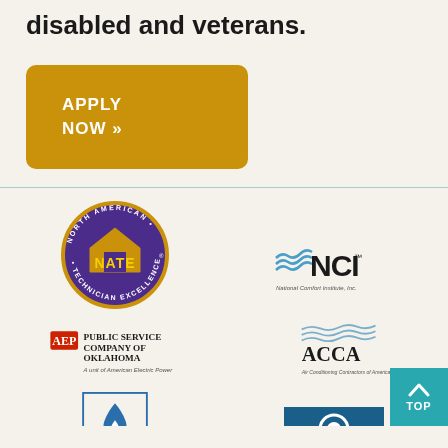disabled and veterans.
[Figure (other): Golden/amber colored button with text APPLY NOW »]
[Figure (logo): NATE - North American Technician Excellence circular logo with purple background and gold house icon]
[Figure (logo): NCI - National Comfort Institute, Inc. logo with blue wave lines]
[Figure (logo): AEP Public Service Company of Oklahoma - A unit of American Electric Power]
[Figure (logo): ACCA - Air Conditioning Contractors of America logo with wave lines]
[Figure (logo): BBB Better Business Bureau logo - partial, blue flame/torch icon with border]
[Figure (logo): Partial logo bottom right with teal/blue background and circular icon]